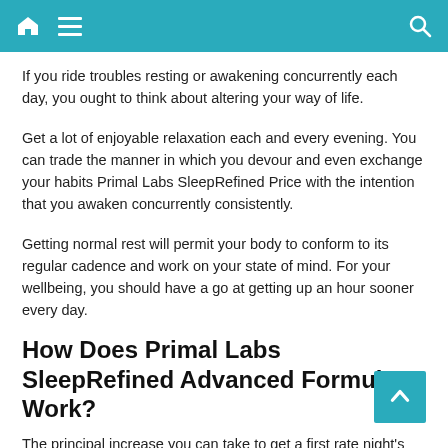Navigation bar with home, menu, and search icons
If you ride troubles resting or awakening concurrently each day, you ought to think about altering your way of life.
Get a lot of enjoyable relaxation each and every evening. You can trade the manner in which you devour and even exchange your habits Primal Labs SleepRefined Price with the intention that you awaken concurrently consistently.
Getting normal rest will permit your body to conform to its regular cadence and work on your state of mind. For your wellbeing, you should have a go at getting up an hour sooner every day.
How Does Primal Labs SleepRefined Advanced Formula Work?
The principal increase you can take to get a first rate night's